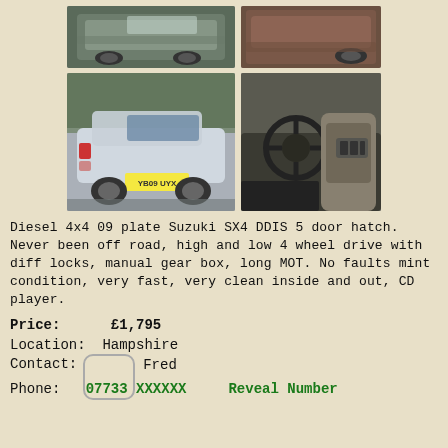[Figure (photo): Top row: two car photos (exterior front-side view, and rear/side close-up)]
[Figure (photo): Bottom row: two car photos (rear exterior with plate YB09 UYX, and interior driver seat/dashboard view)]
Diesel 4x4 09 plate Suzuki SX4 DDIS 5 door hatch. Never been off road, high and low 4 wheel drive with diff locks, manual gear box, long MOT. No faults mint condition, very fast, very clean inside and out, CD player.
Price:      £1,795
Location:  Hampshire
Contact:   Fred
Phone:   07733 XXXXXX    Reveal Number